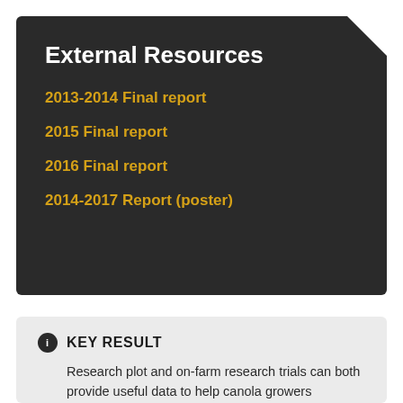External Resources
2013-2014 Final report
2015 Final report
2016 Final report
2014-2017 Report (poster)
KEY RESULT
Research plot and on-farm research trials can both provide useful data to help canola growers